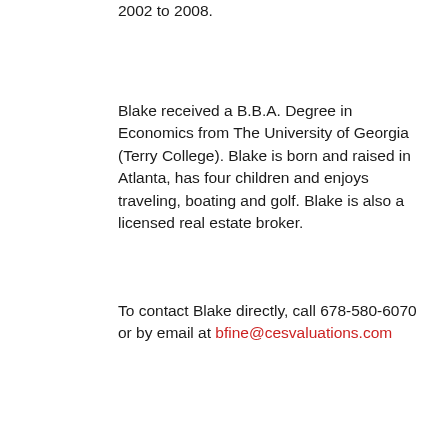2002 to 2008.
Blake received a B.B.A. Degree in Economics from The University of Georgia (Terry College). Blake is born and raised in Atlanta, has four children and enjoys traveling, boating and golf. Blake is also a licensed real estate broker.
To contact Blake directly, call 678-580-6070 or by email at bfine@cesvaluations.com